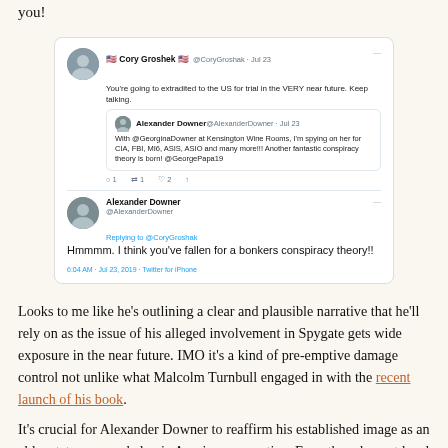you!
[Figure (screenshot): Screenshot of two Twitter/X posts. First tweet by Cory Groshek (@CoryGroshak, Jul 23): 'You're going to extradited to the US for trial in the VERY near future. Keep talking.' With a quoted tweet by Alexander Downer (@AlexanderDowner, Jul 23): 'With @GeorginaDowner at Kensington Wine Rooms, I'm spying on her for CIA, FBI, MI6, ASIS, ASIO and many more!!! Another fantastic conspiracy theory is born! @GeorgePapa19'. Actions: 1 like, 1 retweet, 2 likes. Second tweet by Alexander Downer (@AlexanderDowner) replying to @CoryGroshak: 'Hmmmm. I think you've fallen for a bonkers conspiracy theory!!' Timestamp: 6:04 AM · Jul 23, 2019 · Twitter for iPhone]
Looks to me like he's outlining a clear and plausible narrative that he'll rely on as the issue of his alleged involvement in Spygate gets wide exposure in the near future. IMO it's a kind of pre-emptive damage control not unlike what Malcolm Turnbull engaged in with the recent launch of his book.
It's crucial for Alexander Downer to reaffirm his established image as an elder statesman and classic Aussie conservative. Even though most local journos hate his kind they are still completely controlled by globalist forces and are therefore waaay more antagonistic to